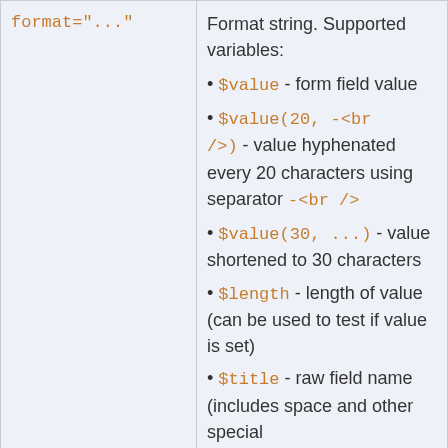| format="..." | Format string. Supported variables:
• $value - form field value
• $value(20, -<br />) - value hyphenated every 20 characters using separator -<br />
• $value(30, ...) - value shortened to 30 characters
• $length - length of value (can be used to test if value is set)
• $title - raw field name (includes space and other special | "$va... |